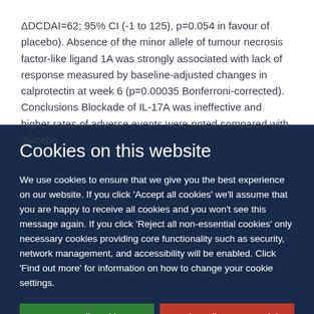ΔDCDAI=62; 95% CI (-1 to 125), p=0.054 in favour of placebo). Absence of the minor allele of tumour necrosis factor-like ligand 1A was strongly associated with lack of response measured by baseline-adjusted changes in calprotectin at week 6 (p=0.00035 Bonferroni-corrected). Conclusions Blockade of IL-17A was ineffective and higher rates of adverse events were noted compared with placebo.
Cookies on this website
We use cookies to ensure that we give you the best experience on our website. If you click 'Accept all cookies' we'll assume that you are happy to receive all cookies and you won't see this message again. If you click 'Reject all non-essential cookies' only necessary cookies providing core functionality such as security, network management, and accessibility will be enabled. Click 'Find out more' for information on how to change your cookie settings.